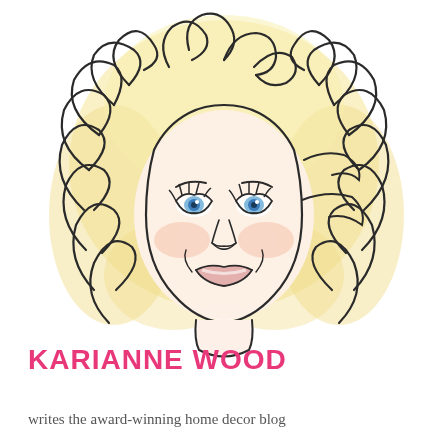[Figure (illustration): Watercolor and ink illustration portrait of a woman with large voluminous curly blonde hair, blue eyes, rosy cheeks, and a smiling expression. The style is a whimsical hand-drawn caricature/illustration with ink outlines and watercolor wash coloring in yellows, peaches, and pinks.]
KARIANNE WOOD
writes the award-winning home decor blog